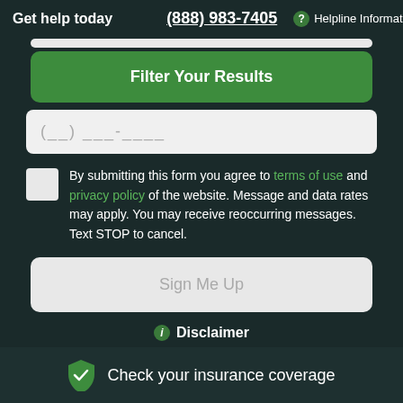Get help today  (888) 983-7405  Helpline Information
Filter Your Results
(__) ___-____
By submitting this form you agree to terms of use and privacy policy of the website. Message and data rates may apply. You may receive reoccurring messages. Text STOP to cancel.
Sign Me Up
Disclaimer
Check your insurance coverage